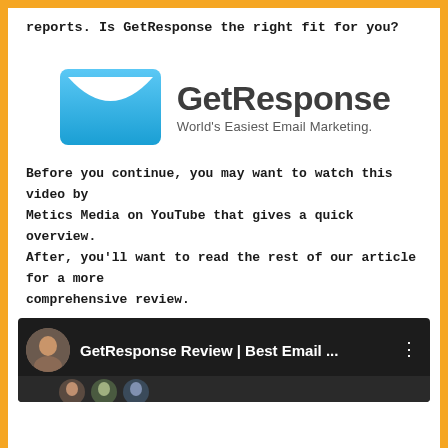reports. Is GetResponse the right fit for you?
[Figure (logo): GetResponse logo: blue envelope icon with white smile/check shape, beside bold text 'GetResponse' and tagline 'World's Easiest Email Marketing.']
Before you continue, you may want to watch this video by Metics Media on YouTube that gives a quick overview. After, you'll want to read the rest of our article for a more comprehensive review.
[Figure (screenshot): YouTube video thumbnail showing 'GetResponse Review | Best Email ...' with a male presenter avatar and dark background with partial faces visible.]